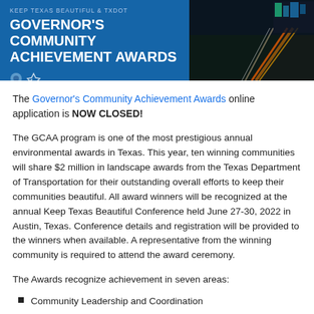[Figure (illustration): Banner header with blue background on left showing 'KEEP TEXAS BEAUTIFUL & TXDOT' subtitle and 'GOVERNOR'S COMMUNITY ACHIEVEMENT AWARDS' title in white bold text with icons, and a night highway photo with light trails on the right.]
The Governor's Community Achievement Awards online application is NOW CLOSED!
The GCAA program is one of the most prestigious annual environmental awards in Texas. This year, ten winning communities will share $2 million in landscape awards from the Texas Department of Transportation for their outstanding overall efforts to keep their communities beautiful. All award winners will be recognized at the annual Keep Texas Beautiful Conference held June 27-30, 2022 in Austin, Texas. Conference details and registration will be provided to the winners when available. A representative from the winning community is required to attend the award ceremony.
The Awards recognize achievement in seven areas:
Community Leadership and Coordination
Public Awareness and Outreach